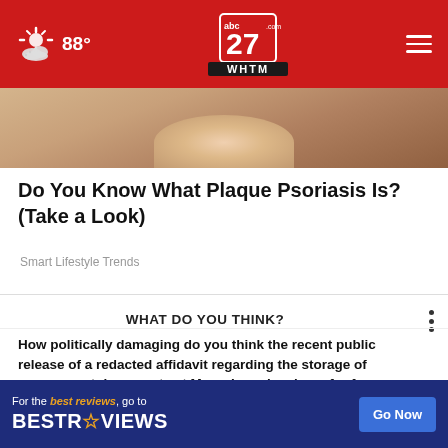abc27 WHTM - 88°
[Figure (photo): Close-up photo of skin showing psoriasis or similar skin condition, warm brown/tan tones]
Do You Know What Plaque Psoriasis Is? (Take a Look)
Smart Lifestyle Trends
WHAT DO YOU THINK?
How politically damaging do you think the recent public release of a redacted affidavit regarding the storage of government documents at Mar-a-Lago has been for former President Trump?
Very politically damaging
[Figure (screenshot): BestReviews advertisement banner: 'For the best reviews, go to BESTREVIEWS' with a 'Go Now' button]